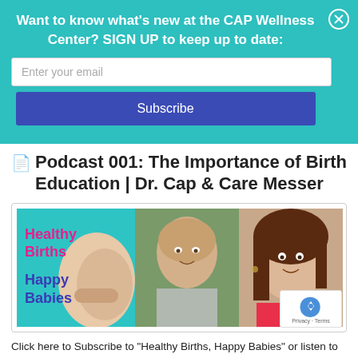Want to know what's new at the CAP Wellness Center? SIGN UP to keep up to date:
[Figure (screenshot): Email signup form with input field labeled 'Enter your email' and a blue Subscribe button on a teal background]
Podcast 001: The Importance of Birth Education | Dr. Cap & Care Messer
[Figure (photo): Podcast promotional image for 'Healthy Births Happy Babies' showing a pregnant belly on the left, a man in the center, and a smiling woman on the right]
Click here to Subscribe to "Healthy Births, Happy Babies" or listen to